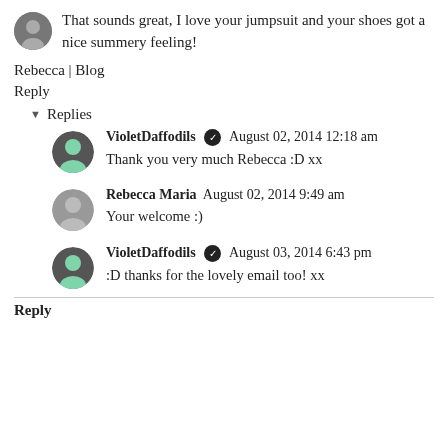That sounds great, I love your jumpsuit and your shoes got a nice summery feeling!
Rebecca | Blog
Reply
▾ Replies
VioletDaffodils ✔ August 02, 2014 12:18 am
Thank you very much Rebecca :D xx
Rebecca Maria  August 02, 2014 9:49 am
Your welcome :)
VioletDaffodils ✔ August 03, 2014 6:43 pm
:D thanks for the lovely email too! xx
Reply